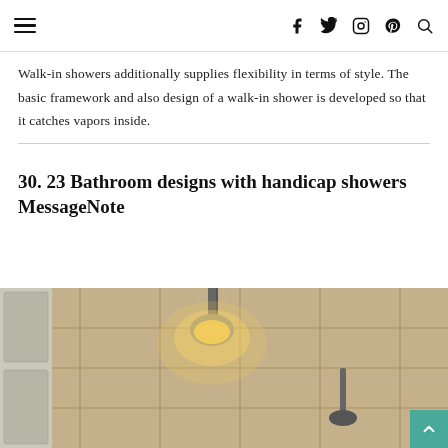☰  f  twitter  instagram  pinterest  search
Walk-in showers additionally supplies flexibility in terms of style. The basic framework and also design of a walk-in shower is developed so that it catches vapors inside.
30. 23 Bathroom designs with handicap showers MessageNote
[Figure (photo): Interior photo of a walk-in shower with beige/tan tile walls, a pendant light with warm glow illuminating the ceiling, and a handheld shower head on the right side.]